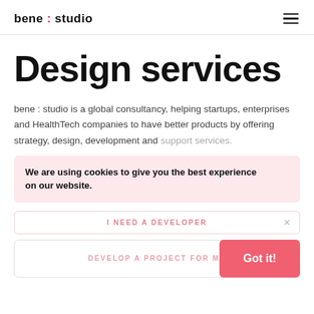bene : studio
Design services
bene : studio is a global consultancy, helping startups, enterprises and HealthTech companies to have better products by offering strategy, design, development and support services.
We are using cookies to give you the best experience on our website.
I NEED A DEVELOPER
DEVELOP A PROJECT FOR ME
Got it!